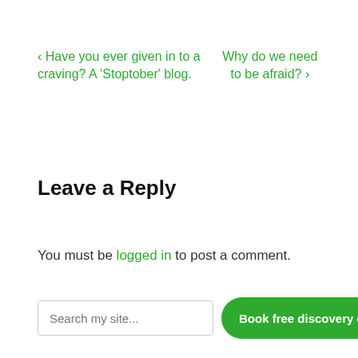‹ Have you ever given in to a craving? A 'Stoptober' blog.
Why do we need to be afraid? ›
Leave a Reply
You must be logged in to post a comment.
Search my site...
Book free discovery call